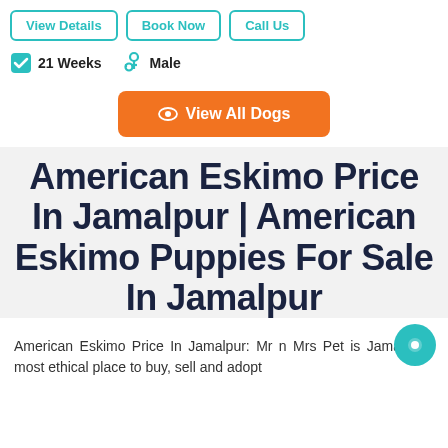View Details | Book Now | Call Us
21 Weeks   Male
👁 View All Dogs
American Eskimo Price In Jamalpur | American Eskimo Puppies For Sale In Jamalpur
American Eskimo Price In Jamalpur: Mr n Mrs Pet is Jamalpur's most ethical place to buy, sell and adopt